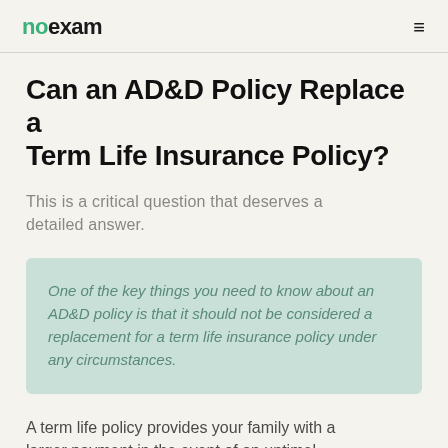noexam
Can an AD&D Policy Replace a Term Life Insurance Policy?
This is a critical question that deserves a detailed answer.
One of the key things you need to know about an AD&D policy is that it should not be considered a replacement for a term life insurance policy under any circumstances.
A term life policy provides your family with a larger payment in the event of an untimely...